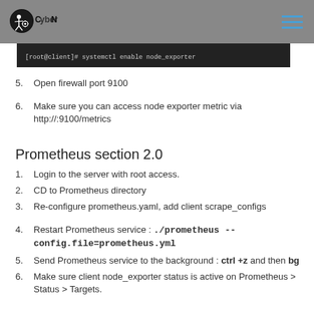CyberN header with logo and hamburger menu
[Figure (screenshot): Terminal block showing command: [root@client]# systemctl enable node_exporter]
5. Open firewall port 9100
6. Make sure you can access node exporter metric via http://:9100/metrics
Prometheus section 2.0
1. Login to the server with root access.
2. CD to Prometheus directory
3. Re-configure prometheus.yaml, add client scrape_configs
4. Restart Prometheus service : ./prometheus --config.file=prometheus.yml
5. Send Prometheus service to the background : ctrl +z and then bg
6. Make sure client node_exporter status is active on Prometheus > Status > Targets.